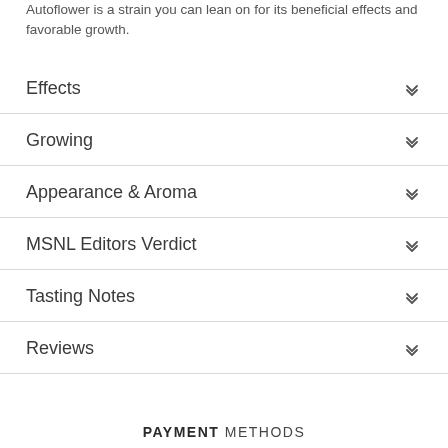Autoflower is a strain you can lean on for its beneficial effects and favorable growth.
Effects
Growing
Appearance & Aroma
MSNL Editors Verdict
Tasting Notes
Reviews
PAYMENT METHODS